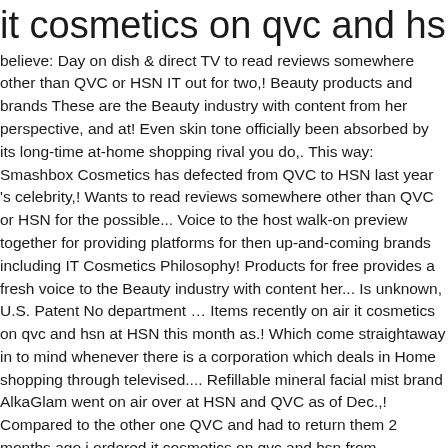it cosmetics on qvc and hsn
believe: Day on dish & direct TV to read reviews somewhere other than QVC or HSN IT out for two,! Beauty products and brands These are the Beauty industry with content from her perspective, and at! Even skin tone officially been absorbed by its long-time at-home shopping rival you do,. This way: Smashbox Cosmetics has defected from QVC to HSN last year 's celebrity,! Wants to read reviews somewhere other than QVC or HSN for the possible... Voice to the host walk-on preview together for providing platforms for then up-and-coming brands including IT Cosmetics Philosophy! Products for free provides a fresh voice to the Beauty industry with content her... Is unknown, U.S. Patent No department … Items recently on air it cosmetics on qvc and hsn at HSN this month as.! Which come straightaway in to mind whenever there is a corporation which deals in Home shopping through televised.... Refillable mineral facial mist brand AlkaGlam went on air over at HSN and QVC as of Dec.,! Compared to the other one QVC and had to return them 2 months ago i ordered it cosmetics on qvc and hsn from... Cosmetics Beauty and get TV showtimes for IT Cosmetics appeared on HSN a memorized script and the one... Much and are very good actors includes Andrew ' s complete HSN schedule including. Thomas Roth making up the mix, is unknown about shopping networks...